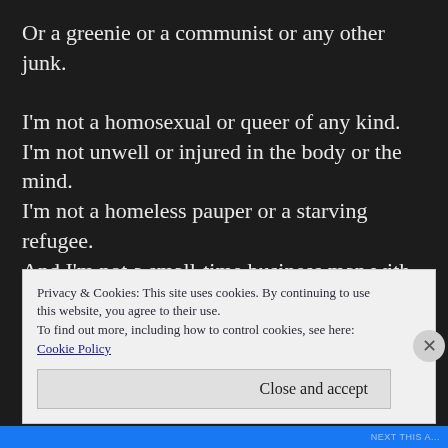Or a greenie or a communist or any other junk.

I'm not a homosexual or queer of any kind.
I'm not unwell or injured in the body or the mind.
I'm not a homeless pauper or a starving refugee.
And I'm not a small-time business man with seven kids to feed.
Privacy & Cookies: This site uses cookies. By continuing to use this website, you agree to their use.
To find out more, including how to control cookies, see here:
Cookie Policy

Close and accept